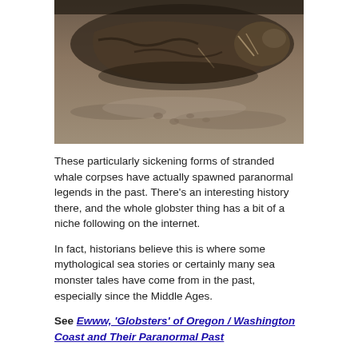[Figure (photo): A decaying animal carcass lying on sandy beach, appears to be a stranded creature with exposed bones and decomposed flesh visible on grey/brown sand.]
These particularly sickening forms of stranded whale corpses have actually spawned paranormal legends in the past. There's an interesting history there, and the whole globster thing has a bit of a niche following on the internet.
In fact, historians believe this is where some mythological sea stories or certainly many sea monster tales have come from in the past, especially since the Middle Ages.
See Ewww, 'Globsters' of Oregon / Washington Coast and Their Paranormal Past
In many cases, something has been decaying out